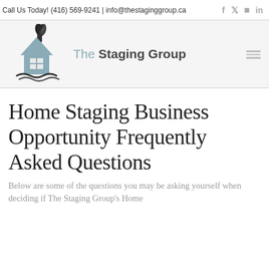Call Us Today! (416) 569-9241 | info@thestaginggroup.ca
[Figure (logo): The Staging Group logo: a house silhouette in steel blue with a leaf on top and water waves below, next to the text 'The Staging Group']
Home Staging Business Opportunity Frequently Asked Questions
Below are some of the questions you may be asking yourself when deciding if The Staging Group's Home